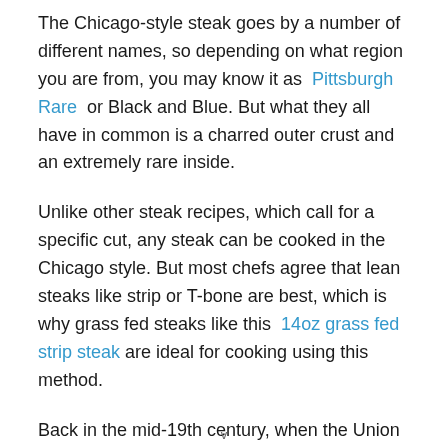The Chicago-style steak goes by a number of different names, so depending on what region you are from, you may know it as Pittsburgh Rare or Black and Blue. But what they all have in common is a charred outer crust and an extremely rare inside.
Unlike other steak recipes, which call for a specific cut, any steak can be cooked in the Chicago style. But most chefs agree that lean steaks like strip or T-bone are best, which is why grass fed steaks like this 14oz grass fed strip steak are ideal for cooking using this method.
Back in the mid-19th century, when the Union Stockyards first opened, almost all of the beef being processed would have come from cows raised on ranges and pastureland and
v